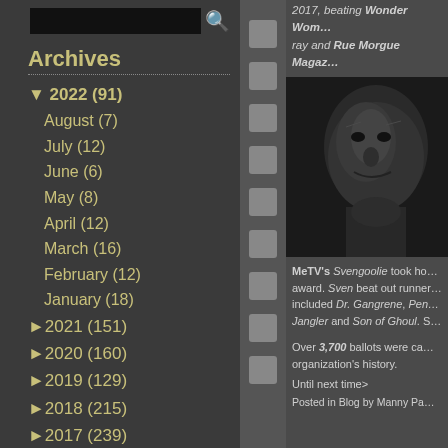Archives
▼ 2022 (91)
August (7)
July (12)
June (6)
May (8)
April (12)
March (16)
February (12)
January (18)
► 2021 (151)
► 2020 (160)
► 2019 (129)
► 2018 (215)
► 2017 (239)
► 2016 (242)
► 2015 (203)
► 2014 (220)
► 2013 (210)
► 2012 (259)
► 2011 (210)
► 2010 (172)
2017, beating Wonder Woman, Blu-ray and Rue Morgue Magazine
[Figure (photo): Close-up portrait of a face, likely Svengoolie character, dark tones]
MeTV's Svengoolie took home the award. Sven beat out runners up that included Dr. Gangrene, Penny Dreadful, Jangler and Son of Ghoul. S...
Over 3,700 ballots were cast, the most in organization's history.
Until next time>
Posted in Blog by Manny Pa...